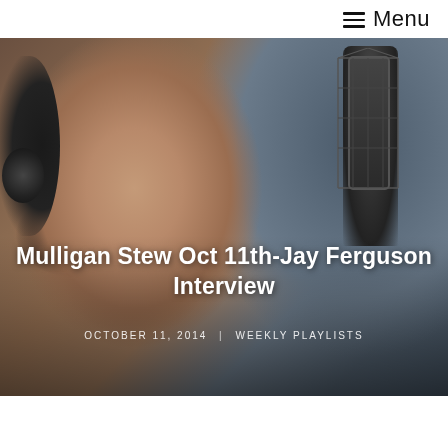≡ Menu
[Figure (photo): A middle-aged man wearing headphones and glasses speaking into a large condenser microphone in a radio studio. The background is blurred with blue tones on the right side.]
Mulligan Stew Oct 11th-Jay Ferguson Interview
OCTOBER 11, 2014  |  WEEKLY PLAYLISTS